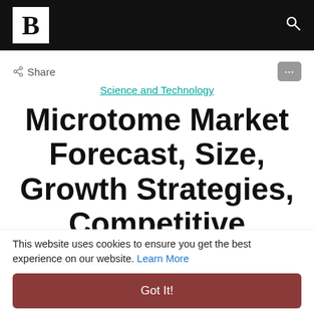B [logo] [search icon]
< Share
Science and Technology
Microtome Market Forecast, Size, Growth Strategies, Competitive Landscape, Factor Analysis Till 2030
This website uses cookies to ensure you get the best experience on our website. Learn More
Got It!